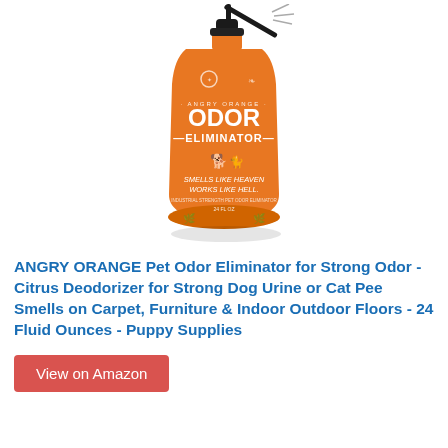[Figure (photo): Orange spray bottle of ANGRY ORANGE Odor Eliminator with black spray nozzle. Bottle label reads: ANGRY ORANGE, ODOR ELIMINATOR, SMELLS LIKE HEAVEN WORKS LIKE HELL, 24 FL OZ. Decorative illustrations of dog, cat, citrus fruits, and flames on orange bottle.]
ANGRY ORANGE Pet Odor Eliminator for Strong Odor - Citrus Deodorizer for Strong Dog Urine or Cat Pee Smells on Carpet, Furniture & Indoor Outdoor Floors - 24 Fluid Ounces - Puppy Supplies
View on Amazon